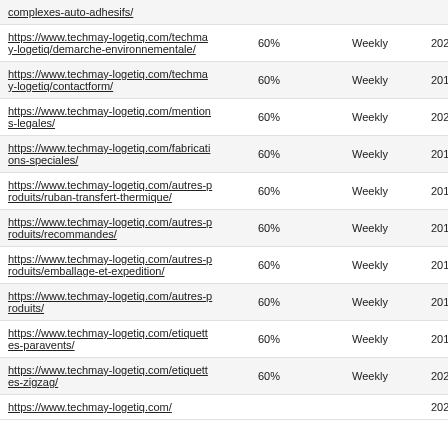| complexes-auto-adhesifs/ | 60% | Weekly | 2022-05-17 14:15 |
| https://www.techmay-logetiq.com/techmay-logetiq/demarche-environnementale/ | 60% | Weekly | 2022-05-17 14:15 |
| https://www.techmay-logetiq.com/techmay-logetiq/contactform/ | 60% | Weekly | 2011-09-02 07:54 |
| https://www.techmay-logetiq.com/mentions-legales/ | 60% | Weekly | 2021-05-17 13:37 |
| https://www.techmay-logetiq.com/fabrications-speciales/ | 60% | Weekly | 2017-05-18 08:31 |
| https://www.techmay-logetiq.com/autres-produits/ruban-transfert-thermique/ | 60% | Weekly | 2011-09-02 07:32 |
| https://www.techmay-logetiq.com/autres-produits/recommandes/ | 60% | Weekly | 2018-06-07 13:21 |
| https://www.techmay-logetiq.com/autres-produits/emballage-et-expedition/ | 60% | Weekly | 2018-06-07 13:10 |
| https://www.techmay-logetiq.com/autres-produits/ | 60% | Weekly | 2010-07-12 15:42 |
| https://www.techmay-logetiq.com/etiquettes-paravents/ | 60% | Weekly | 2018-06-07 10:50 |
| https://www.techmay-logetiq.com/etiquettes-zigzag/ | 60% | Weekly | 2021-05-27 14:03 |
| https://www.techmay-logetiq... | 60% | Weekly | 2021-10-11 |